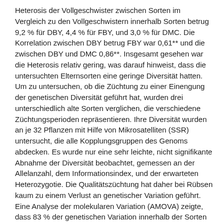Heterosis der Vollgeschwister zwischen Sorten im Vergleich zu den Vollgeschwistern innerhalb Sorten betrug 9,2 % für DBY, 4,4 % für FBY, und 3,0 % für DMC. Die Korrelation zwischen DBY betrug FBY war 0,61** und die zwischen DBY und DMC 0,86**. Insgesamt gesehen war die Heterosis relativ gering, was darauf hinweist, dass die untersuchten Elternsorten eine geringe Diversität hatten. Um zu untersuchen, ob die Züchtung zu einer Einengung der genetischen Diversität geführt hat, wurden drei unterschiedlich alte Sorten verglichen, die verschiedene Züchtungsperioden repräsentieren. Ihre Diversität wurden an je 32 Pflanzen mit Hilfe von Mikrosatelliten (SSR) untersucht, die alle Kopplungsgruppen des Genoms abdecken. Es wurde nur eine sehr leichte, nicht signifikante Abnahme der Diversität beobachtet, gemessen an der Allelanzahl, dem Informationsindex, und der erwarteten Heterozygotie. Die Qualitätszüchtung hat daher bei Rübsen kaum zu einem Verlust an genetischer Variation geführt. Eine Analyse der molekularen Variation (AMOVA) zeigte, dass 83 % der genetischen Variation innerhalb der Sorten und nur 17 % zwischen den Sorten auftrat. Einzelpflanzen der drei Sorten wurden durch Hauptkoordinatenanalyse sowie durch ein Dendrogram aua einer Clusteranalyse charakterisiert. Auch hier zeigte sich, dass die genetische Variation vor allem innerhalb der Sorten auftrat, wodurch sich der relativ geringe Heterosiezuwachs in Kreuzungen